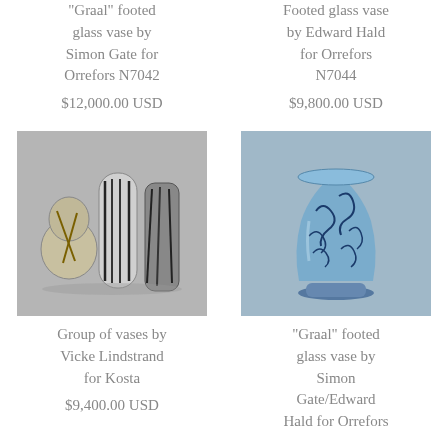"Graal" footed glass vase by Simon Gate for Orrefors N7042
$12,000.00 USD
Footed glass vase by Edward Hald for Orrefors N7044
$9,800.00 USD
[Figure (photo): Group of three glass vases by Vicke Lindstrand for Kosta — monochrome grey tones with black streaks]
[Figure (photo): Blue Graal footed glass vase with swirling decorative pattern by Simon Gate/Edward Hald for Orrefors]
Group of vases by Vicke Lindstrand for Kosta
$9,400.00 USD
"Graal" footed glass vase by Simon Gate/Edward Hald for Orrefors